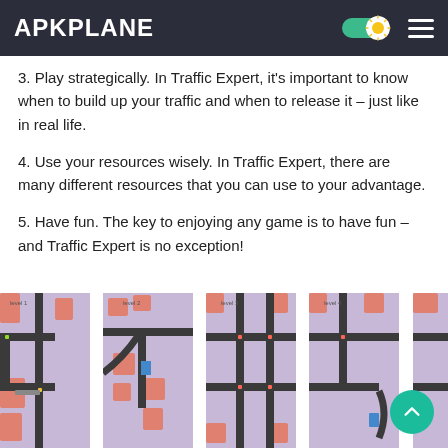APKPLANE
3. Play strategically. In Traffic Expert, it's important to know when to build up your traffic and when to release it – just like in real life.
4. Use your resources wisely. In Traffic Expert, there are many different resources that you can use to your advantage.
5. Have fun. The key to enjoying any game is to have fun – and Traffic Expert is no exception!
[Figure (screenshot): Four screenshots of the Traffic Expert mobile game showing a top-down view of a city road/traffic management map with pink/lavender background, dark roads, and red building blocks.]